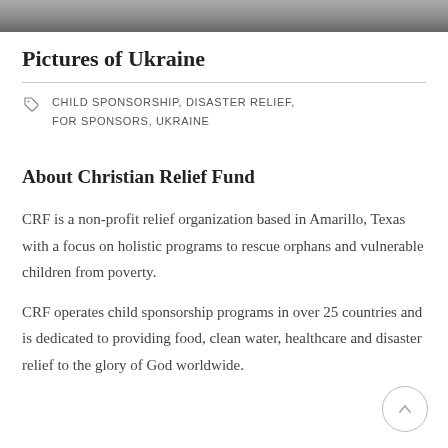[Figure (photo): Top strip of a photograph, partially visible — appears to be a photo related to Ukraine.]
Pictures of Ukraine
CHILD SPONSORSHIP, DISASTER RELIEF, FOR SPONSORS, UKRAINE
About Christian Relief Fund
CRF is a non-profit relief organization based in Amarillo, Texas with a focus on holistic programs to rescue orphans and vulnerable children from poverty.
CRF operates child sponsorship programs in over 25 countries and is dedicated to providing food, clean water, healthcare and disaster relief to the glory of God worldwide.